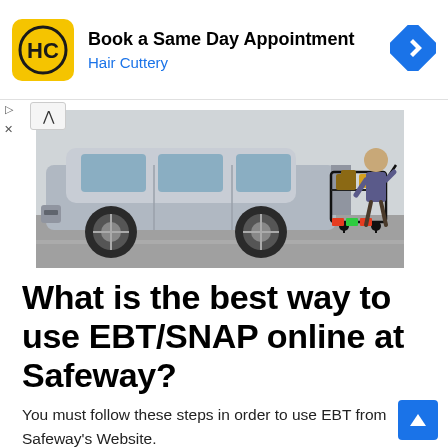[Figure (advertisement): Hair Cuttery advertisement banner with yellow logo showing HC letters, text 'Book a Same Day Appointment' and 'Hair Cuttery' in blue, and a blue diamond-shaped arrow icon on the right]
[Figure (photo): Outdoor parking lot photo showing a silver SUV with a person loading groceries from a full shopping cart into the trunk]
What is the best way to use EBT/SNAP online at Safeway?
You must follow these steps in order to use EBT from Safeway's Website.